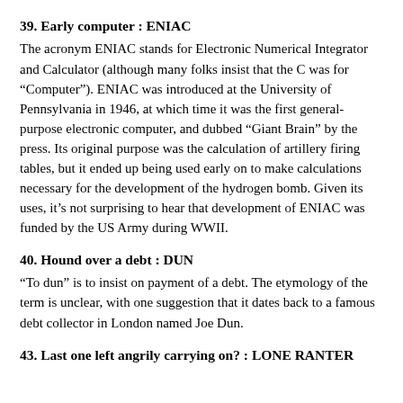39. Early computer : ENIAC
The acronym ENIAC stands for Electronic Numerical Integrator and Calculator (although many folks insist that the C was for “Computer”). ENIAC was introduced at the University of Pennsylvania in 1946, at which time it was the first general-purpose electronic computer, and dubbed “Giant Brain” by the press. Its original purpose was the calculation of artillery firing tables, but it ended up being used early on to make calculations necessary for the development of the hydrogen bomb. Given its uses, it’s not surprising to hear that development of ENIAC was funded by the US Army during WWII.
40. Hound over a debt : DUN
“To dun” is to insist on payment of a debt. The etymology of the term is unclear, with one suggestion that it dates back to a famous debt collector in London named Joe Dun.
43. Last one left angrily carrying on? : LONE RANTER